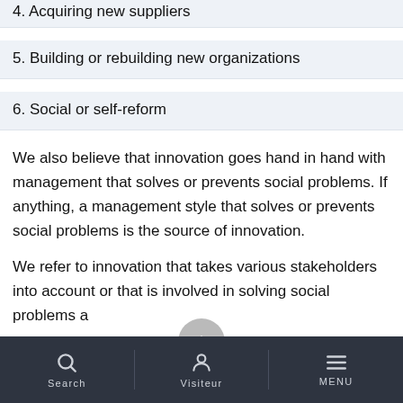4. Acquiring new suppliers
5. Building or rebuilding new organizations
6. Social or self-reform
We also believe that innovation goes hand in hand with management that solves or prevents social problems. If anything, a management style that solves or prevents social problems is the source of innovation.
We refer to innovation that takes various stakeholders into account or that is involved in solving social problems a...
Search   Visiteur   MENU